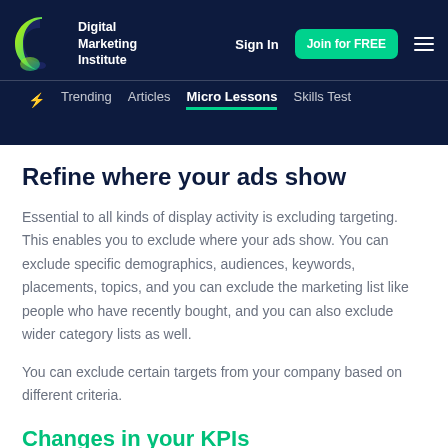Digital Marketing Institute — Sign In | Join for FREE | Trending | Articles | Micro Lessons | Skills Test
Refine where your ads show
Essential to all kinds of display activity is excluding targeting. This enables you to exclude where your ads show. You can exclude specific demographics, audiences, keywords, placements, topics, and you can exclude the marketing list like people who have recently bought, and you can also exclude wider category lists as well.
You can exclude certain targets from your company based on different criteria.
Changes in your KPIs